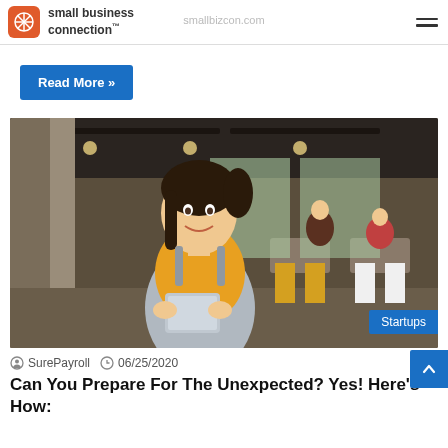small business connection
Read More »
[Figure (photo): A smiling woman wearing a yellow shirt and gray apron, holding a tablet, standing at the entrance of a restaurant or café. The background shows a busy dining area with yellow and white chairs.]
Startups
SurePayroll  06/25/2020
Can You Prepare For The Unexpected? Yes! Here's How: